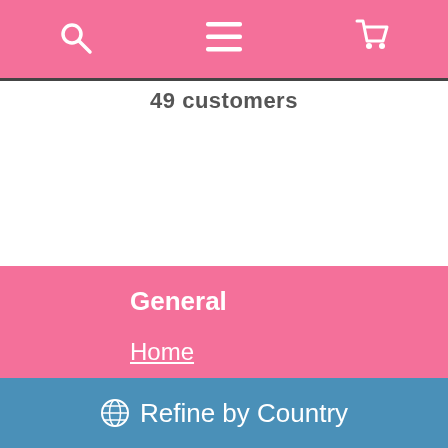Navigation bar with search, menu, and cart icons
49 customers
General
Home
Blog
Desktop Website
Customers' Review
Shopping
Cart
About Shipping
Privacy Policy
🌐 Refine by Country